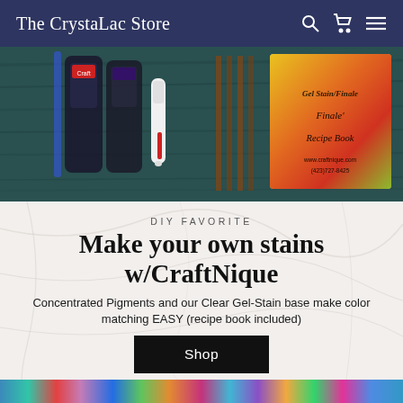The CrystaLac Store
[Figure (photo): Product photo showing craft stain bottles, a white pen-shaped tool, and a colorful recipe book on a dark wooden surface. The recipe book shows 'Gel Stain/Finale Recipe Book' text.]
DIY FAVORITE
Make your own stains w/CraftNique
Concentrated Pigments and our Clear Gel-Stain base make color matching EASY (recipe book included)
Shop